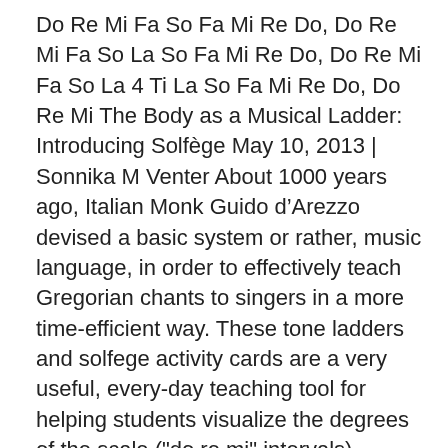Do Re Mi Fa So Fa Mi Re Do, Do Re Mi Fa So La So Fa Mi Re Do, Do Re Mi Fa So La 4 Ti La So Fa Mi Re Do, Do Re Mi The Body as a Musical Ladder: Introducing Solfège May 10, 2013 | Sonnika M Venter About 1000 years ago, Italian Monk Guido d'Arezzo devised a basic system or rather, music language, in order to effectively teach Gregorian chants to singers in a more time-efficient way. These tone ladders and solfege activity cards are a very useful, every-day teaching tool for helping students visualize the degrees of the scale ("do re mi" intervals), develop in-tune singing skills, and explore and create melody patterns. The intervals are visually spaced, and format/printing opt Etymology. Italian "solfeggio" and English/French "solfège" derive from the names of two of the syllables used: sol and fa.